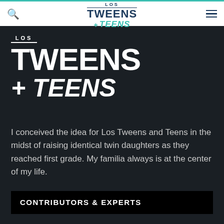LOS TWEENS + TEENS
[Figure (logo): Los Tweens and Teens logo — large white bold text on dark background with teal accent for + TEENS]
I conceived the idea for Los Tweens and Teens in the midst of raising identical twin daughters as they reached first grade. My familia always is at the center of my life.
CONTRIBUTORS & EXPERTS
Content Creators
Experts & Contributors